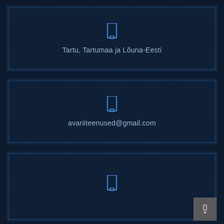Tartu, Tartumaa ja Lõuna-Eesti
avariiteenused@gmail.com
[Figure (other): Third card with icon and scroll button in bottom-right corner]